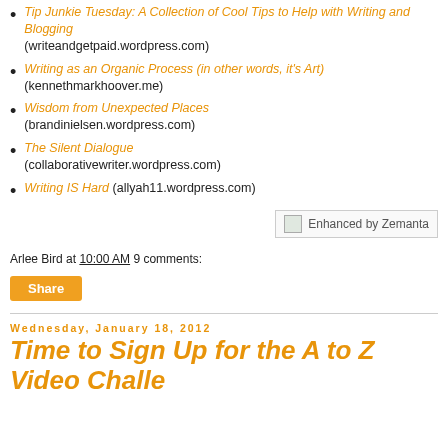Tip Junkie Tuesday: A Collection of Cool Tips to Help with Writing and Blogging (writeandgetpaid.wordpress.com)
Writing as an Organic Process (in other words, it's Art) (kennethmarkhoover.me)
Wisdom from Unexpected Places (brandinielsen.wordpress.com)
The Silent Dialogue (collaborativewriter.wordpress.com)
Writing IS Hard (allyah11.wordpress.com)
[Figure (other): Enhanced by Zemanta badge/button with small image icon]
Arlee Bird at 10:00 AM   9 comments:
Share
Wednesday, January 18, 2012
Time to Sign Up for the A to Z Video Challenge!